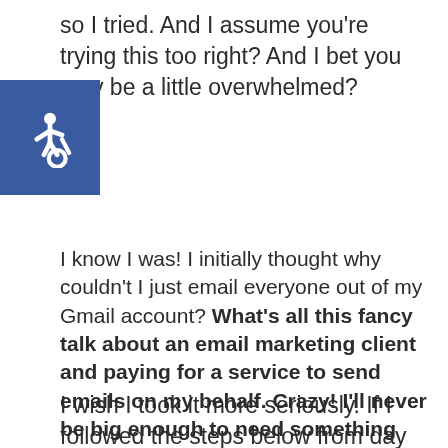so I tried. And I assume you're trying this too right? And I bet you may be a little overwhelmed?
I know I was! I initially thought why couldn't I just email everyone out of my Gmail account? What's all this fancy talk about an email marketing client and paying for a service to send emails on my behalf. Crazy! I'll never be big enough to need something like that.
I wish I took it more seriously. If I followed the steps below from day one,